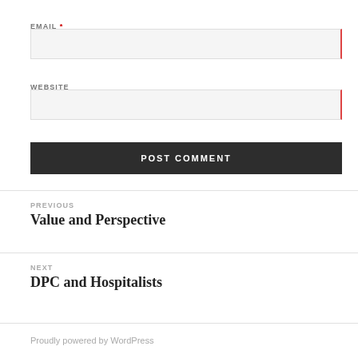EMAIL *
WEBSITE
POST COMMENT
PREVIOUS
Value and Perspective
NEXT
DPC and Hospitalists
Proudly powered by WordPress